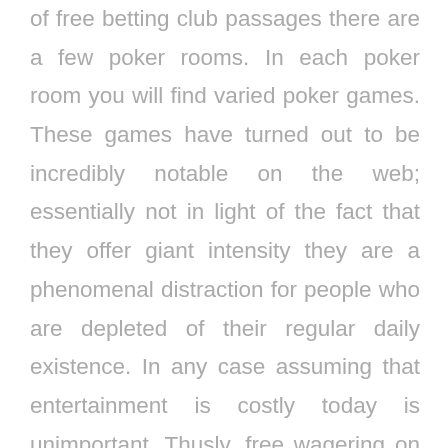of free betting club passages there are a few poker rooms. In each poker room you will find varied poker games. These games have turned out to be incredibly notable on the web; essentially not in light of the fact that they offer giant intensity they are a phenomenal distraction for people who are depleted of their regular daily existence. In any case assuming that entertainment is costly today is unimportant. Thusly, free wagering on the web has expanded such perceptible quality. Any place people are either losing positions or going up against remuneration cut, nevertheless, every single one of us requires the